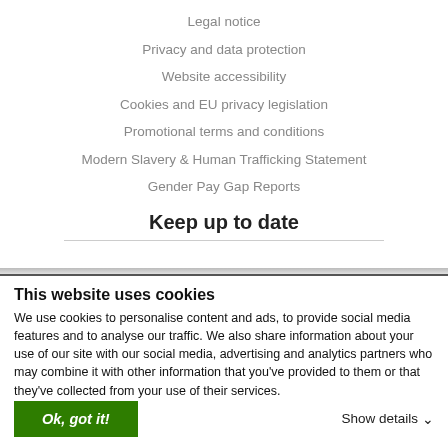Legal notice
Privacy and data protection
Website accessibility
Cookies and EU privacy legislation
Promotional terms and conditions
Modern Slavery & Human Trafficking Statement
Gender Pay Gap Reports
Keep up to date
This website uses cookies
We use cookies to personalise content and ads, to provide social media features and to analyse our traffic. We also share information about your use of our site with our social media, advertising and analytics partners who may combine it with other information that you've provided to them or that they've collected from your use of their services.
Ok, got it!
Show details